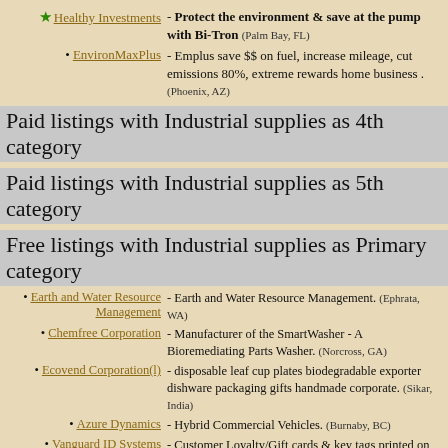★ Healthy Investments - Protect the environment & save at the pump with Bi-Tron (Palm Bay, FL)
• EnvironMaxPlus - Emplus save $$ on fuel, increase mileage, cut emissions 80%, extreme rewards home business . (Phoenix, AZ)
Paid listings with Industrial supplies as 4th category
Paid listings with Industrial supplies as 5th category
Free listings with Industrial supplies as Primary category
• Earth and Water Resource Management - Earth and Water Resource Management. (Ephrata, WA)
• Chemfree Corporation - Manufacturer of the SmartWasher - A Bioremediating Parts Washer. (Norcross, GA)
• Ecovend Corporation(l) - disposable leaf cup plates biodegradable exporter dishware packaging gifts handmade corporate. (Sikar, India)
• Azure Dynamics - Hybrid Commercial Vehicles. (Burnaby, BC)
• Vanguard ID Systems - Customer Loyalty/Gift cards & key tags printed on an eco-friendly